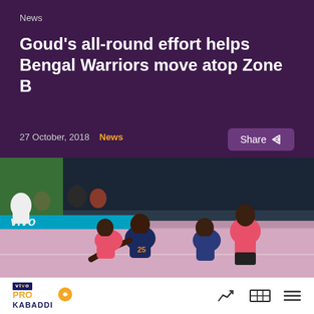News
Goud's all-round effort helps Bengal Warriors move atop Zone B
27 October, 2018  News
[Figure (photo): Kabaddi match action photo showing Bengal Warriors players in dark blue/orange jerseys grappling with Jaipur Pink Panthers players in pink jerseys on the court, with VIVO branding visible on the court boundary.]
[Figure (logo): VIVO PRO KABADDI league logo in footer]